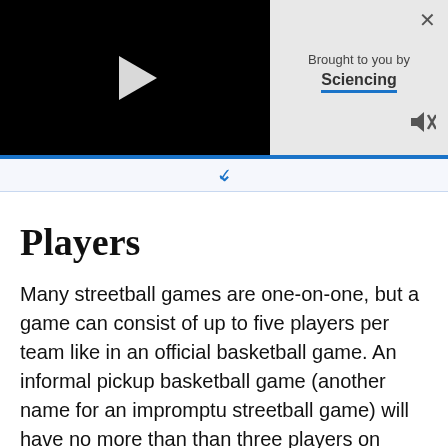[Figure (screenshot): Video player with black background and white play button triangle, alongside a grey branding panel showing 'Brought to you by Sciencing' with close and mute icons]
Players
Many streetball games are one-on-one, but a game can consist of up to five players per team like in an official basketball game. An informal pickup basketball game (another name for an impromptu streetball game) will have no more than three players on each team.